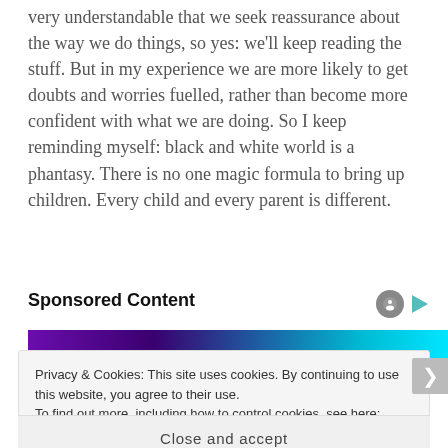very understandable that we seek reassurance about the way we do things, so yes: we'll keep reading the stuff. But in my experience we are more likely to get doubts and worries fuelled, rather than become more confident with what we are doing. So I keep reminding myself: black and white world is a phantasy. There is no one magic formula to bring up children. Every child and every parent is different.
Sponsored Content
[Figure (photo): A dark purple and cyan themed sponsored content image banner]
Privacy & Cookies: This site uses cookies. By continuing to use this website, you agree to their use.
To find out more, including how to control cookies, see here: Cookie Policy
Close and accept